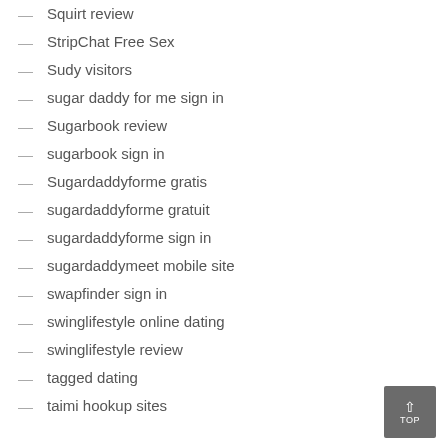Squirt review
StripChat Free Sex
Sudy visitors
sugar daddy for me sign in
Sugarbook review
sugarbook sign in
Sugardaddyforme gratis
sugardaddyforme gratuit
sugardaddyforme sign in
sugardaddymeet mobile site
swapfinder sign in
swinglifestyle online dating
swinglifestyle review
tagged dating
taimi hookup sites